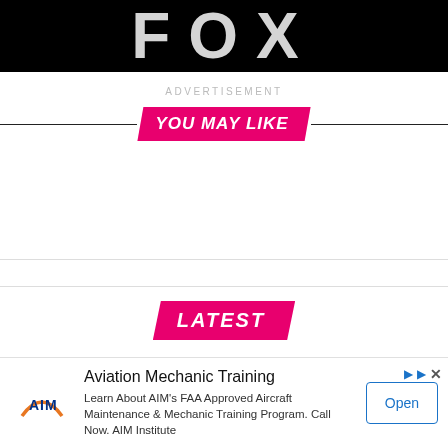[Figure (logo): FOX logo — white bold text on black background]
ADVERTISEMENT
YOU MAY LIKE
LATEST
ACTOR / 17 hours ago
[Figure (screenshot): Advertisement banner for Aviation Mechanic Training by AIM Institute with Open button]